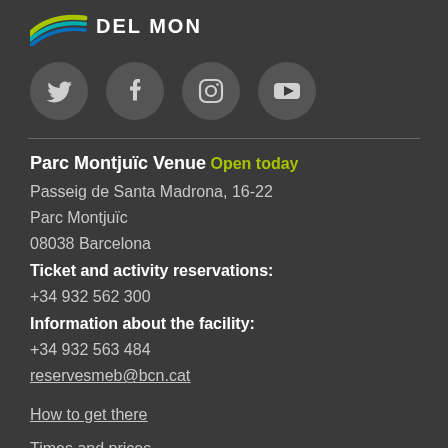[Figure (logo): Colored swoosh logo with text DEL MON]
[Figure (infographic): Social media icons: Twitter, Facebook, Instagram, YouTube in dark circular buttons]
Parc Montjuïc Venue Open today
Passeig de Santa Madrona, 16-22
Parc Montjuïc
08038 Barcelona
Ticket and activity reservations:
+34 932 562 300
Information about the facility:
+34 932 563 484
reservesmeb@bcn.cat
How to get there
Times and prices
Montcada Venue Open today
Carrer Montcada, 12 - 14